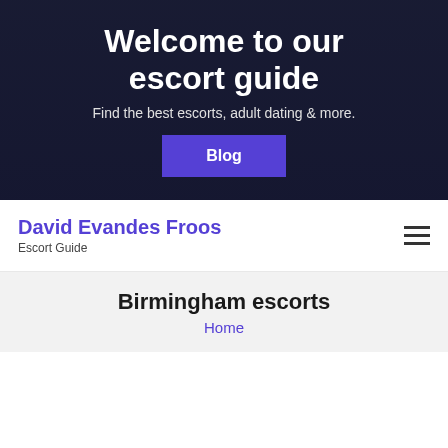Welcome to our escort guide
Find the best escorts, adult dating & more.
Blog
David Evandes Froos
Escort Guide
Birmingham escorts
Home